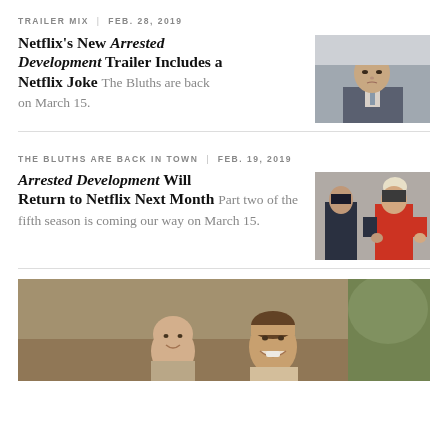TRAILER MIX | FEB. 28, 2019
Netflix's New Arrested Development Trailer Includes a Netflix Joke The Bluths are back on March 15.
[Figure (photo): Man in grey suit with tie, looking stern]
THE BLUTHS ARE BACK IN TOWN | FEB. 19, 2019
Arrested Development Will Return to Netflix Next Month Part two of the fifth season is coming our way on March 15.
[Figure (photo): Two people in hallway, one in police uniform, one in red sweater]
[Figure (photo): Two men smiling, one bald, one with brown hair, outdoor setting]